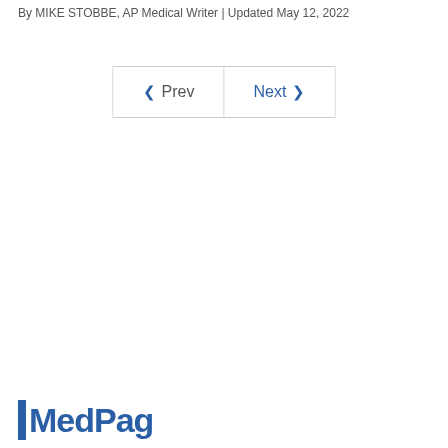By MIKE STOBBE, AP Medical Writer | Updated May 12, 2022
[Figure (other): Navigation buttons: Prev and Next with chevron arrows]
[Figure (logo): MedPage logo — blue vertical bar followed by bold blue text starting with 'M']